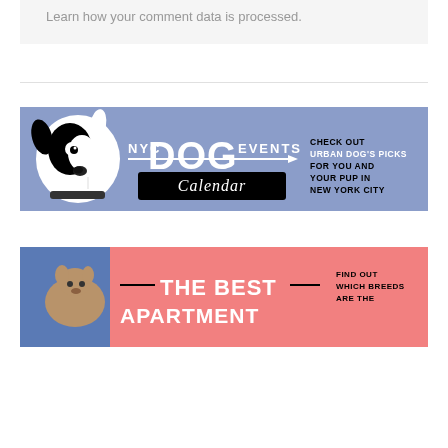Learn how your comment data is processed.
[Figure (illustration): NYC Dog Events Calendar banner — periwinkle/lavender background with a black-and-white illustrated dog on the left, large white bold text 'DOG' in the center with 'NYC' and 'EVENTS' flanking it, a black box with white script 'Calendar', and text on the right: 'CHECK OUT URBAN DOG'S PICKS FOR YOU AND YOUR PUP IN NEW YORK CITY']
[Figure (illustration): Pink banner partially visible at bottom showing a dog photo on left, bold white text 'THE BEST APARTMENT' with decorative lines, and text on right: 'FIND OUT WHICH BREEDS ARE THE']